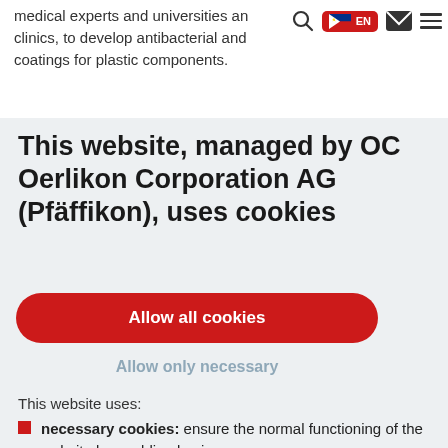medical experts and universities and clinics, to develop antibacterial and coatings for plastic components.
This website, managed by OC Oerlikon Corporation AG (Pfäffikon), uses cookies
Allow all cookies
Allow only necessary
This website uses:
necessary cookies: ensure the normal functioning of the website by enabling basic